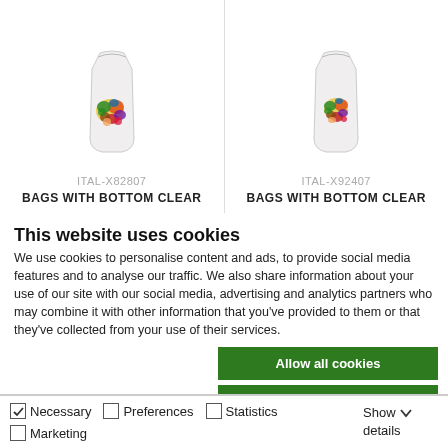[Figure (photo): Product card showing a clear bag with colorful candies, product code ITAL-X82807, labeled BAGS WITH BOTTOM CLEAR]
[Figure (photo): Product card showing a clear bag with colorful candies, product code ITAL-X92407, labeled BAGS WITH BOTTOM CLEAR]
This website uses cookies
We use cookies to personalise content and ads, to provide social media features and to analyse our traffic. We also share information about your use of our site with our social media, advertising and analytics partners who may combine it with other information that you've provided to them or that they've collected from your use of their services.
Allow all cookies
Allow selection
Use necessary cookies only
Necessary Preferences Statistics Marketing Show details